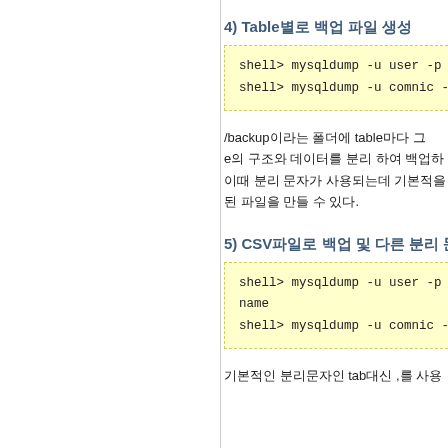4) Table별로 백업 파일 생성
shell> mysqldump -u user -p --
shell> mysqldump -u comnic -
/backup이라는 폴더에 table마다 그
e의 구조와 데이터를 분리 하여 백업하
이때 분리 문자가 사용되는데 기본적을
된 파일을 만들 수 있다.
5) CSV파일로 백업 및 다른 분리 문자
shell> mysqldump -u user -p --
name
shell> mysqldump -u comnic -
기본적인 분리문자인 tab대신 ,를 사용